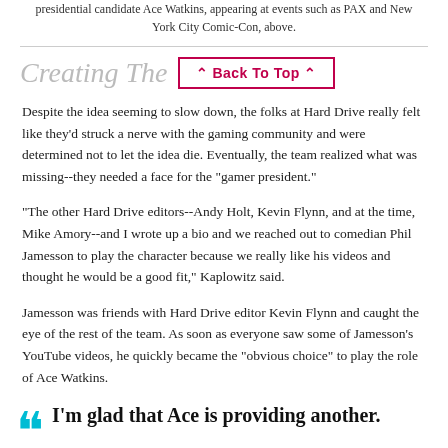presidential candidate Ace Watkins, appearing at events such as PAX and New York City Comic-Con, above.
Creating The
Despite the idea seeming to slow down, the folks at Hard Drive really felt like they'd struck a nerve with the gaming community and were determined not to let the idea die. Eventually, the team realized what was missing--they needed a face for the "gamer president."
"The other Hard Drive editors--Andy Holt, Kevin Flynn, and at the time, Mike Amory--and I wrote up a bio and we reached out to comedian Phil Jamesson to play the character because we really like his videos and thought he would be a good fit," Kaplowitz said.
Jamesson was friends with Hard Drive editor Kevin Flynn and caught the eye of the rest of the team. As soon as everyone saw some of Jamesson's YouTube videos, he quickly became the "obvious choice" to play the role of Ace Watkins.
I'm glad that Ace is providing another.